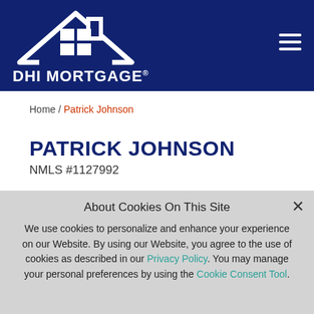[Figure (logo): DHI Mortgage logo: white house/roof outline with four-pane window above the text DHI MORTGAGE on a dark navy blue background, with a hamburger menu icon on the right.]
Home / Patrick Johnson
PATRICK JOHNSON
NMLS #1127992
About Cookies On This Site
We use cookies to personalize and enhance your experience on our Website. By using our Website, you agree to the use of cookies as described in our Privacy Policy. You may manage your personal preferences by using the Cookie Consent Tool.